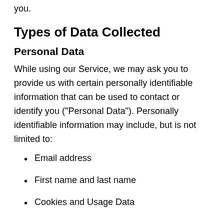you.
Types of Data Collected
Personal Data
While using our Service, we may ask you to provide us with certain personally identifiable information that can be used to contact or identify you ("Personal Data"). Personally identifiable information may include, but is not limited to:
Email address
First name and last name
Cookies and Usage Data